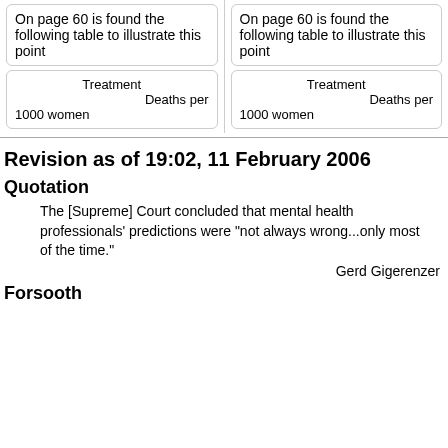On page 60 is found the following table to illustrate this point
On page 60 is found the following table to illustrate this point
| Treatment | Deaths per 1000 women |
| --- | --- |
| Treatment | Deaths per 1000 women |
| --- | --- |
Revision as of 19:02, 11 February 2006
Quotation
The [Supreme] Court concluded that mental health professionals' predictions were "not always wrong...only most of the time."
Gerd Gigerenzer
Forsooth